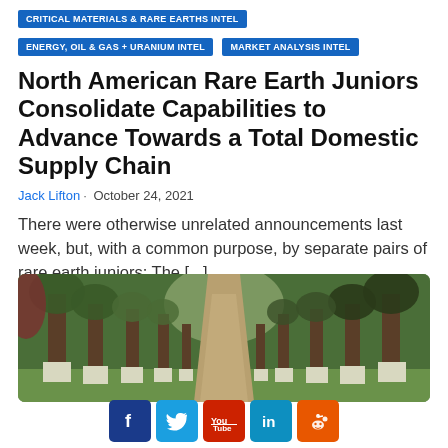CRITICAL MATERIALS & RARE EARTHS INTEL
ENERGY, OIL & GAS + URANIUM INTEL
MARKET ANALYSIS INTEL
North American Rare Earth Juniors Consolidate Capabilities to Advance Towards a Total Domestic Supply Chain
Jack Lifton · October 24, 2021
There were otherwise unrelated announcements last week, but, with a common purpose, by separate pairs of rare earth juniors: The [...]
[Figure (photo): Forest path lined with trees whose bases are painted white, with green grass and foliage on either side]
Social share buttons: Facebook, Twitter, YouTube, LinkedIn, Reddit